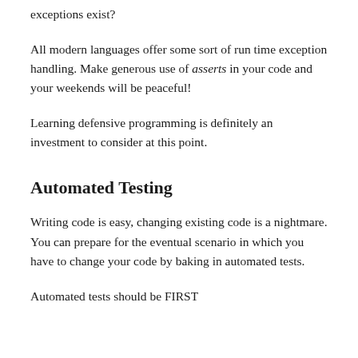exceptions exist?
All modern languages offer some sort of run time exception handling. Make generous use of asserts in your code and your weekends will be peaceful!
Learning defensive programming is definitely an investment to consider at this point.
Automated Testing
Writing code is easy, changing existing code is a nightmare. You can prepare for the eventual scenario in which you have to change your code by baking in automated tests.
Automated tests should be FIRST